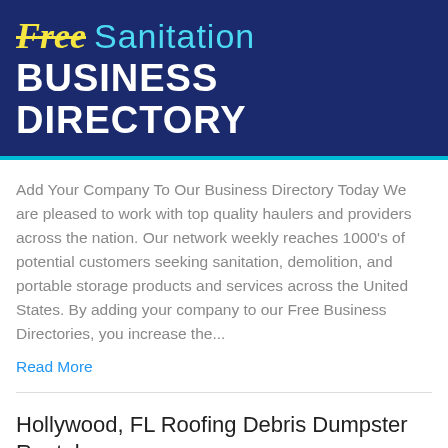[Figure (logo): Free Sanitation Business Directory banner with dark blue background, yellow italic 'Free' with strikethrough, cyan 'Sanitation' text, and white bold 'BUSINESS DIRECTORY' text, with teal bottom border]
Add Your Company To Our Business Directory Today We are pleased to work with top quality haulers and providers across the nation. Our network weekly reaches 1000's of potential customers seeking sanitation, demolition, and portable storage products and services across the United States. By adding your company to our Free Business Directories, you increase the...
Read More
Hollywood, FL Roofing Debris Dumpster Rental